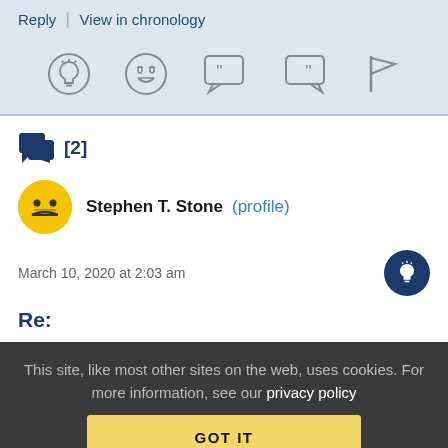Reply | View in chronology
[Figure (infographic): Icon toolbar with lightbulb, laughing emoji, two speech bubble quote icons, and a flag icon]
[2] replies icon
Stephen T. Stone (profile)
March 10, 2020 at 2:03 am
Re:
This site, like most other sites on the web, uses cookies. For more information, see our privacy policy
GOT IT